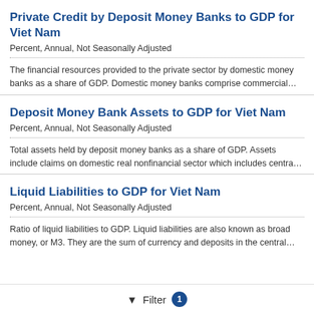Private Credit by Deposit Money Banks to GDP for Viet Nam
Percent, Annual, Not Seasonally Adjusted
The financial resources provided to the private sector by domestic money banks as a share of GDP. Domestic money banks comprise commercial…
Deposit Money Bank Assets to GDP for Viet Nam
Percent, Annual, Not Seasonally Adjusted
Total assets held by deposit money banks as a share of GDP. Assets include claims on domestic real nonfinancial sector which includes centra…
Liquid Liabilities to GDP for Viet Nam
Percent, Annual, Not Seasonally Adjusted
Ratio of liquid liabilities to GDP. Liquid liabilities are also known as broad money, or M3. They are the sum of currency and deposits in the central…
Filter 1